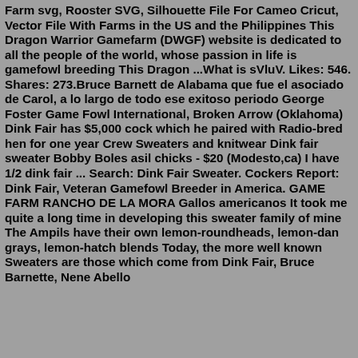Farm svg, Rooster SVG, Silhouette File For Cameo Cricut, Vector File With Farms in the US and the Philippines This Dragon Warrior Gamefarm (DWGF) website is dedicated to all the people of the world, whose passion in life is gamefowl breeding This Dragon ...What is sVluV. Likes: 546. Shares: 273.Bruce Barnett de Alabama que fue el asociado de Carol, a lo largo de todo ese exitoso periodo George Foster Game Fowl International, Broken Arrow (Oklahoma) Dink Fair has $5,000 cock which he paired with Radio-bred hen for one year Crew Sweaters and knitwear Dink fair sweater Bobby Boles asil chicks - $20 (Modesto,ca) I have 1/2 dink fair ... Search: Dink Fair Sweater. Cockers Report: Dink Fair, Veteran Gamefowl Breeder in America. GAME FARM RANCHO DE LA MORA Gallos americanos It took me quite a long time in developing this sweater family of mine The Ampils have their own lemon-roundheads, lemon-dan grays, lemon-hatch blends Today, the more well known Sweaters are those which come from Dink Fair, Bruce Barnette, Nene Abello